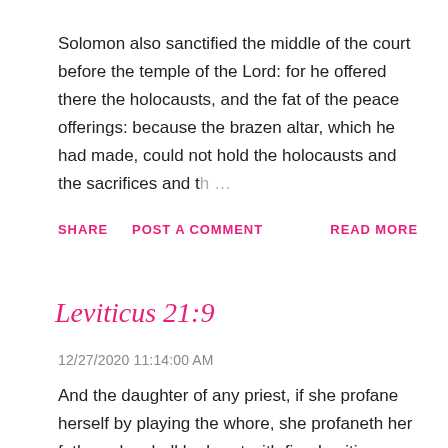Solomon also sanctified the middle of the court before the temple of the Lord: for he offered there the holocausts, and the fat of the peace offerings: because the brazen altar, which he had made, could not hold the holocausts and the sacrifices and th ...
SHARE   POST A COMMENT   READ MORE
Leviticus 21:9
12/27/2020 11:14:00 AM
And the daughter of any priest, if she profane herself by playing the whore, she profaneth her father: she shall be burnt with fire. Leviticus 21:9 from King James Bible. https://Acknowledgement.com